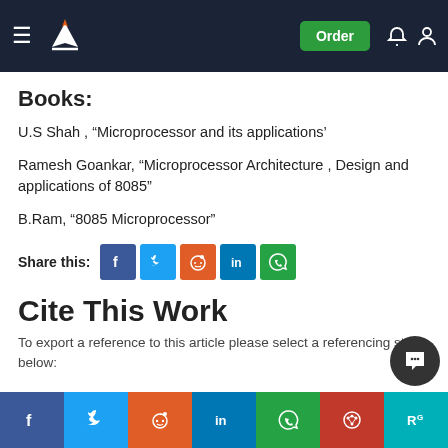Navigation header with logo and Order button
Books:
U.S Shah , “Microprocessor and its applications’
Ramesh Goankar, “Microprocessor Architecture , Design and applications of 8085”
B.Ram, “8085 Microprocessor”
Share this: [Facebook] [Twitter] [Reddit] [LinkedIn] [WhatsApp]
Cite This Work
To export a reference to this article please select a referencing style below: